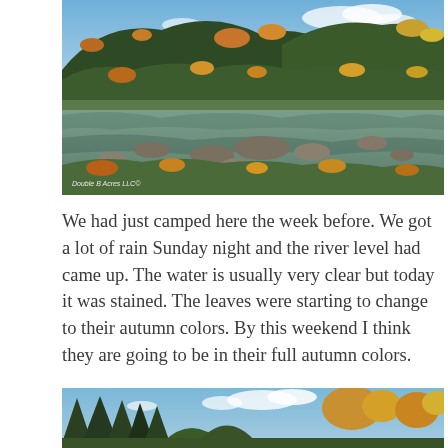[Figure (photo): Autumn river scene with rocky riverbed, flowing water, and trees with fall foliage on hillsides under blue sky. Watermark reads 'Double B Acres LLC©' in bottom left.]
We had just camped here the week before. We got a lot of rain Sunday night and the river level had came up. The water is usually very clear but today it was stained. The leaves were starting to change to their autumn colors. By this weekend I think they are going to be in their full autumn colors.
[Figure (photo): Autumn forest scene with tall pine trees and deciduous trees showing fall colors of orange and yellow against a blue sky with white clouds.]